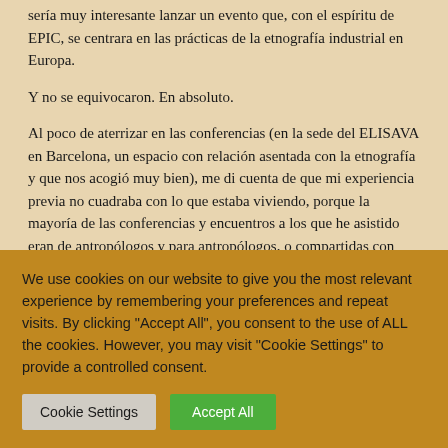sería muy interesante lanzar un evento que, con el espíritu de EPIC, se centrara en las prácticas de la etnografía industrial en Europa.
Y no se equivocaron. En absoluto.
Al poco de aterrizar en las conferencias (en la sede del ELISAVA en Barcelona, un espacio con relación asentada con la etnografía y que nos acogió muy bien), me di cuenta de que mi experiencia previa no cuadraba con lo que estaba viviendo, porque la mayoría de las conferencias y encuentros a los que he asistido eran de antropólogos y para antropólogos, o compartidas con nuestros primos los sociólogos. En este caso los antropólogos éramos una leve mayoría relativa, lo que resulta refrescante al comprobar el
We use cookies on our website to give you the most relevant experience by remembering your preferences and repeat visits. By clicking "Accept All", you consent to the use of ALL the cookies. However, you may visit "Cookie Settings" to provide a controlled consent.